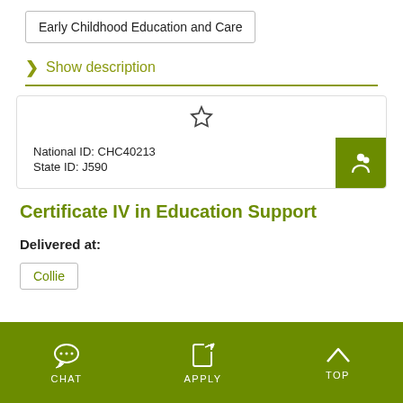Early Childhood Education and Care
Show description
National ID: CHC40213
State ID: J590
Certificate IV in Education Support
Delivered at:
Collie
CHAT   APPLY   TOP